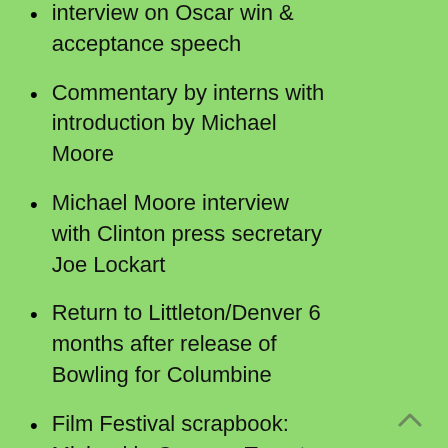interview on Oscar win & acceptance speech
Commentary by interns with introduction by Michael Moore
Michael Moore interview with Clinton press secretary Joe Lockart
Return to Littleton/Denver 6 months after release of Bowling for Columbine
Film Festival scrapbook: Michael in Cannes, Toronto & London